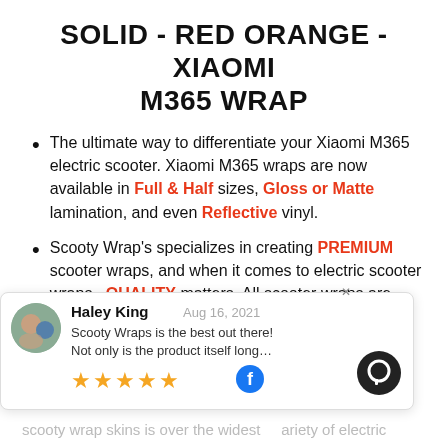SOLID - RED ORANGE - XIAOMI M365 WRAP
The ultimate way to differentiate your Xiaomi M365 electric scooter. Xiaomi M365 wraps are now available in Full & Half sizes, Gloss or Matte lamination, and even Reflective vinyl.
Scooty Wrap's specializes in creating PREMIUM scooter wraps, and when it comes to electric scooter wraps.. QUALITY matters. All scooter wraps are printed on top tier 3M vinyl, ensuring that they'll
[Figure (screenshot): Review popup overlay showing Haley King's review dated Aug 16, 2021, with text 'Scooty Wraps is the best out there! Not only is the product itself long...' and 5 gold stars, Facebook icon, and chat icon]
scooty wrap skins is over the widest variety of electric